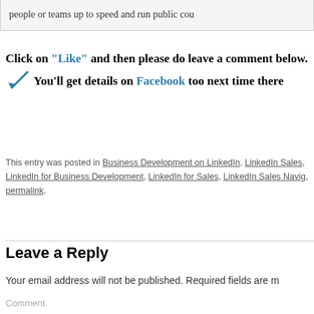people or teams up to speed and run public cou
Click on “Like” and then please do leave a comment below. You’ll get details on Facebook too next time there
This entry was posted in Business Development on LinkedIn, LinkedIn Sales, LinkedIn for Business Development, LinkedIn for Sales, LinkedIn Sales Navig, permalink.
Leave a Reply
Your email address will not be published. Required fields are m
Comment